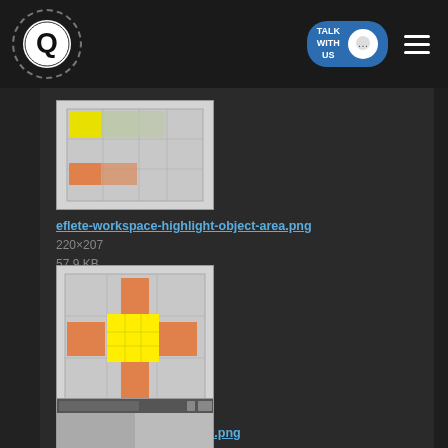Logo | TALK WITH US | hamburger menu
[Figure (screenshot): Screenshot thumbnail of eflete-workspace-highlight-object-area.png showing a grid with yellow and salmon/orange colored blocks on gray background]
eflete-workspace-highlight-object-area.png
220×207
57.9 KB
[Figure (screenshot): Screenshot thumbnail of eflete-workspace-highlight.png showing a grid with large yellow block and salmon/orange accent blocks on gray background]
eflete-workspace-highlight.png
216×220
20.4 KB
[Figure (screenshot): Screenshot thumbnail of eflete-workspace-main.png showing a application window with pink oval and yellow circle on checkered background]